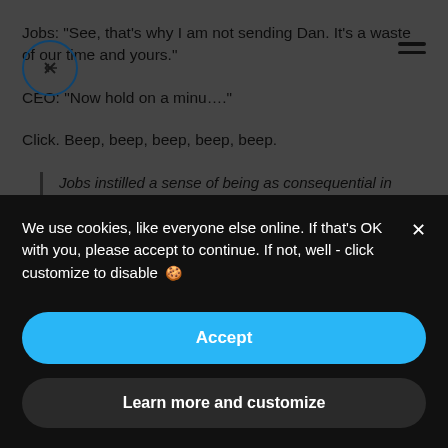Jobs: "See, that's why I am not sending Dan. It's a waste of our time and yours."
CEO: "Now hold on a minu...."
Click. Beep, beep, beep, beep, beep.
Jobs instilled a sense of being as consequential in Apple's Enterprise design as
We use cookies, like everyone else online. If that's OK with you, please accept to continue. If not, well - click customize to disable 🍪
Accept
Learn more and customize